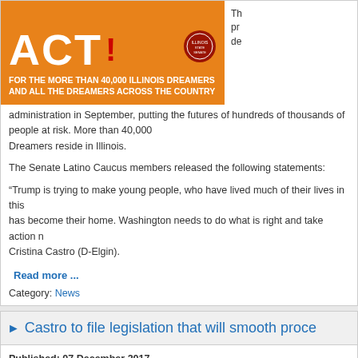[Figure (illustration): Orange banner with large white ACT text and red accent, seal logo, tagline reading FOR THE MORE THAN 40,000 ILLINOIS DREAMERS AND ALL THE DREAMERS ACROSS THE COUNTRY]
The [text continues off-page] administration in September, putting the futures of hundreds of thousands of people at risk. More than 40,000 Dreamers reside in Illinois.
The Senate Latino Caucus members released the following statements:
“Trump is trying to make young people, who have lived much of their lives in this [country that] has become their home. Washington needs to do what is right and take action n[ow]” – Cristina Castro (D-Elgin).
Read more ...
Category: News
Castro to file legislation that will smooth proce[ss]
Published: 07 December 2017